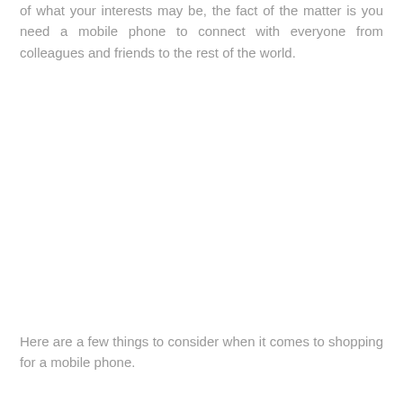of what your interests may be, the fact of the matter is you need a mobile phone to connect with everyone from colleagues and friends to the rest of the world.
Here are a few things to consider when it comes to shopping for a mobile phone.